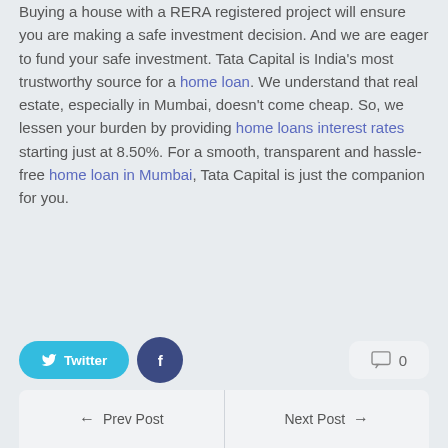Buying a house with a RERA registered project will ensure you are making a safe investment decision. And we are eager to fund your safe investment. Tata Capital is India's most trustworthy source for a home loan. We understand that real estate, especially in Mumbai, doesn't come cheap. So, we lessen your burden by providing home loans interest rates starting just at 8.50%. For a smooth, transparent and hassle-free home loan in Mumbai, Tata Capital is just the companion for you.
[Figure (other): Apply Now button — a rounded blue button with white text]
[Figure (other): Social sharing row: Twitter button (cyan), Facebook button (dark blue circle), and comment count (0)]
[Figure (other): Navigation bar with Prev Post (left arrow) and Next Post (right arrow)]